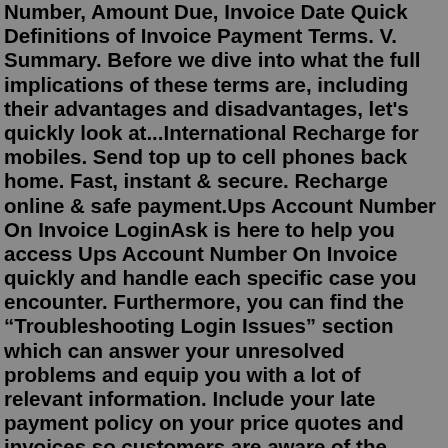Number, Amount Due, Invoice Date Quick Definitions of Invoice Payment Terms. V. Summary. Before we dive into what the full implications of these terms are, including their advantages and disadvantages, let's quickly look at...International Recharge for mobiles. Send top up to cell phones back home. Fast, instant & secure. Recharge online & safe payment.Ups Account Number On Invoice LoginAsk is here to help you access Ups Account Number On Invoice quickly and handle each specific case you encounter. Furthermore, you can find the “Troubleshooting Login Issues” section which can answer your unresolved problems and equip you with a lot of relevant information. Include your late payment policy on your price quotes and invoices so customers are aware of the penalty if they do not pay on time. TIP: Send an invoice within 48 hours of completing a job.If you already receive invoices from us but are not yet enrolled in the UPS Billing Center, you will need to have an invoice from the last 45 days. As part of enrollment, you will be asked to enter